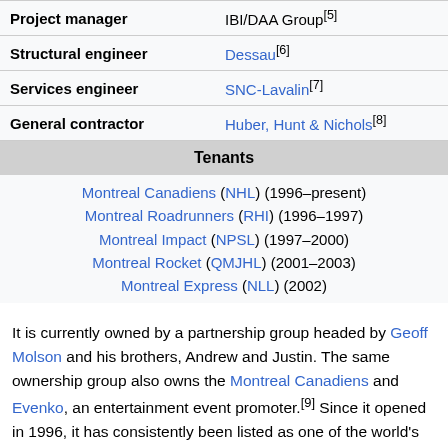| Project manager | IBI/DAA Group[5] |
| Structural engineer | Dessau[6] |
| Services engineer | SNC-Lavalin[7] |
| General contractor | Huber, Hunt & Nichols[8] |
| Tenants |  |
| Montreal Canadiens (NHL) (1996–present)
Montreal Roadrunners (RHI) (1996–1997)
Montreal Impact (NPSL) (1997–2000)
Montreal Rocket (QMJHL) (2001–2003)
Montreal Express (NLL) (2002) |  |
It is currently owned by a partnership group headed by Geoff Molson and his brothers, Andrew and Justin. The same ownership group also owns the Montreal Canadiens and Evenko, an entertainment event promoter.[9] Since it opened in 1996, it has consistently been listed as one of the world's busiest arenas, usually receiving the highest